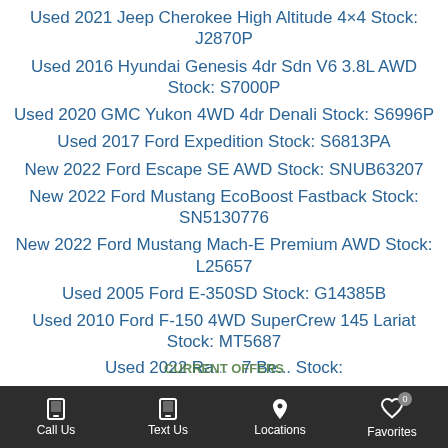Used 2021 Jeep Cherokee High Altitude 4×4 Stock: J2870P
Used 2016 Hyundai Genesis 4dr Sdn V6 3.8L AWD Stock: S7000P
Used 2020 GMC Yukon 4WD 4dr Denali Stock: S6996P
Used 2017 Ford Expedition Stock: S6813PA
New 2022 Ford Escape SE AWD Stock: SNUB63207
New 2022 Ford Mustang EcoBoost Fastback Stock: SN5130776
New 2022 Ford Mustang Mach-E Premium AWD Stock: L25657
Used 2005 Ford E-350SD Stock: G14385B
Used 2010 Ford F-150 4WD SuperCrew 145 Lariat Stock: MT5687
Used 2021 Ford Bronco Sport Big Bend 4×4 Stock: M3210B
Used 2022 Ra... [7 Be... Stock:
Call Us  Text Us  Locations  Favorites 0